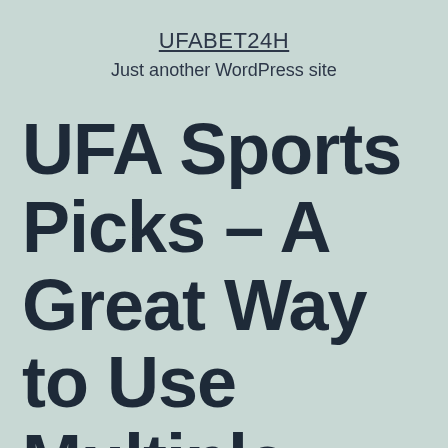UFABET24H
Just another WordPress site
UFA Sports Picks – A Great Way to Use Multiple